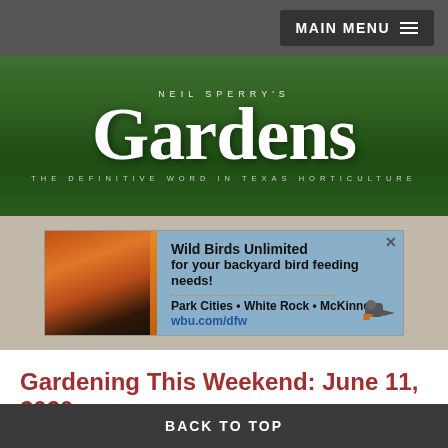MAIN MENU
[Figure (logo): Neil Sperry's Gardens – The Definitive Word in Texas Horticulture masthead on dark green background]
[Figure (infographic): Wild Birds Unlimited advertisement: cardinal photo on left, text 'Wild Birds Unlimited for your backyard bird feeding needs! Park Cities • White Rock • McKinney wbu.com/dfw']
Gardening This Weekend: June 11, 2020
Here's your list of top tasks for the next three days.
PLANT
BACK TO TOP